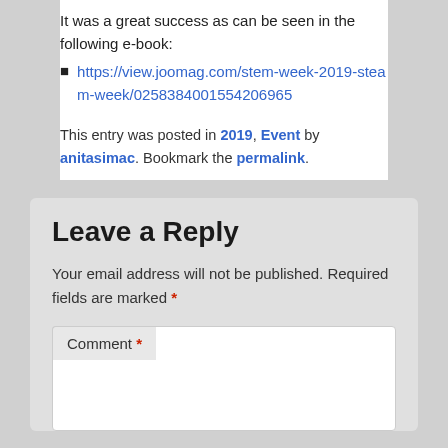It was a great success as can be seen in the following e-book:
https://view.joomag.com/stem-week-2019-steam-week/0258384001554206965
This entry was posted in 2019, Event by anitasimac. Bookmark the permalink.
Leave a Reply
Your email address will not be published. Required fields are marked *
Comment *